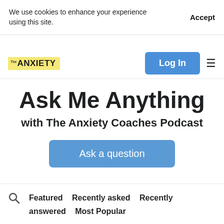We use cookies to enhance your experience using this site.
Accept
[Figure (logo): The Anxiety Coaches Podcast logo on yellow background]
Log In
Ask Me Anything
with The Anxiety Coaches Podcast
Ask a question
Featured   Recently asked   Recently answered   Most Popular